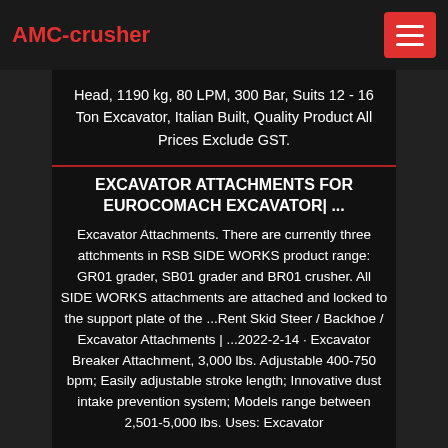AMC-crusher
Head, 1190 kg, 80 LPM, 300 Bar, Suits 12 - 16 Ton Excavator, Italian Built, Quality Product All Prices Exclude GST.
EXCAVATOR ATTACHMENTS FOR EUROCOMACH EXCAVATOR| ...
Excavator Attachments. There are currently three attchments in RSB SIDE WORKS product range: GR01 grader, SB01 grader and BR01 crusher. All SIDE WORKS attachments are attached and locked to the support plate of the ...Rent Skid Steer / Backhoe / Excavator Attachments | ...2022-2-14 · Excavator Breaker Attachment, 3,000 lbs. Adjustable 400-750 bpm; Easily adjustable stroke length; Innovative dust intake prevention system; Models range between 2,501-5,000 lbs. Uses: Excavator